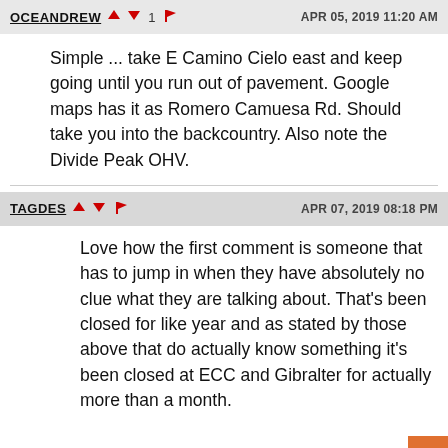OCEANDREW ▲ ▼1 ⚑  APR 05, 2019 11:20 AM
Simple ... take E Camino Cielo east and keep going until you run out of pavement. Google maps has it as Romero Camuesa Rd. Should take you into the backcountry. Also note the Divide Peak OHV.
TAGDES ▲ ▼ ⚑  APR 07, 2019 08:18 PM
Love how the first comment is someone that has to jump in when they have absolutely no clue what they are talking about. That's been closed for like year and as stated by those above that do actually know something it's been closed at ECC and Gibralter for actually more than a month.